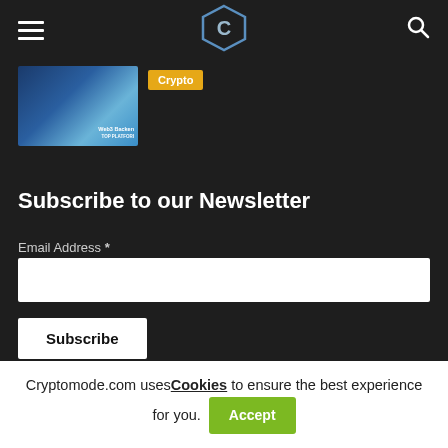Navigation bar with hamburger menu, CryptoMode logo, and search icon
[Figure (screenshot): Thumbnail image showing 'Web3 Backend TOP PLATFORMS' with blue gradient background]
Crypto
Subscribe to our Newsletter
Email Address *
Subscribe
POPULAR POSTS
Cryptomode.com uses Cookies to ensure the best experience for you. Accept